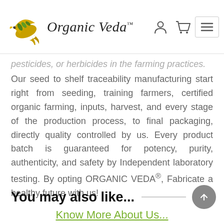[Figure (logo): Organic Veda logo with golden bird and green wheat motif, brand name in italic serif font with TM superscript, user icon, cart icon, and hamburger menu button in header]
pesticides, or herbicides in the farming practices.
Our seed to shelf traceability manufacturing start right from seeding, training farmers, certified organic farming, inputs, harvest, and every stage of the production process, to final packaging, directly quality controlled by us. Every product batch is guaranteed for potency, purity, authenticity, and safety by Independent laboratory testing. By opting ORGANIC VEDA®, Fabricate a healthy future with us!
Know More About Us...
You may also like...